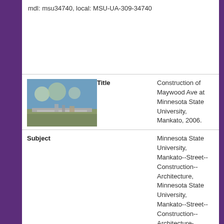mdl: msu34740, local: MSU-UA-309-34740
[Figure (photo): Thumbnail photograph of construction of Maywood Ave at Minnesota State University, Mankato]
| Title | Construction of Maywood Ave at Minnesota State University, Mankato, 2006. |
| Subject | Minnesota State University, Mankato--Street--Construction--Architecture, Minnesota State University, Mankato--Street--Construction--Architecture--44.146231-94.000398--Google Maps |
| Description | Construction of Maywood Ave at Minnesota State University, Mankato, 2006. |
| Date | 2006 |
| MDL Identifier | msu34744 |